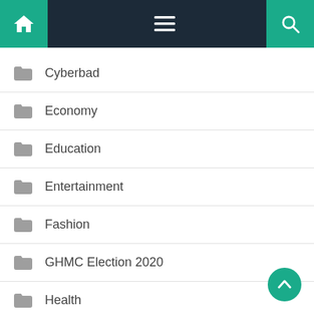Navigation bar with home, menu, and search icons
Cyberbad
Economy
Education
Entertainment
Fashion
GHMC Election 2020
Health
Himachal Pradesh
Hyderabad